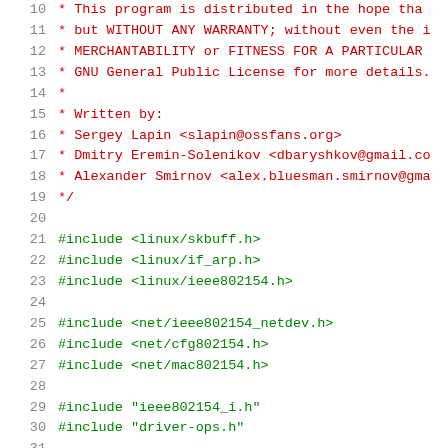Source code listing showing GPL comment block and #include directives, lines 10-31
10: * This program is distributed in the hope that
11: * but WITHOUT ANY WARRANTY; without even the i
12: * MERCHANTABILITY or FITNESS FOR A PARTICULAR 
13: * GNU General Public License for more details.
14: *
15: * Written by:
16: * Sergey Lapin <slapin@ossfans.org>
17: * Dmitry Eremin-Solenikov <dbaryshkov@gmail.com
18: * Alexander Smirnov <alex.bluesman.smirnov@gma
19: */
20: 
21: #include <linux/skbuff.h>
22: #include <linux/if_arp.h>
23: #include <linux/ieee802154.h>
24: 
25: #include <net/ieee802154_netdev.h>
26: #include <net/cfg802154.h>
27: #include <net/mac802154.h>
28: 
29: #include "ieee802154_i.h"
30: #include "driver-ops.h"
31: